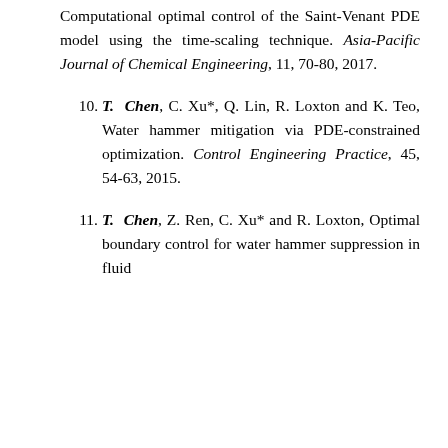Computational optimal control of the Saint-Venant PDE model using the time-scaling technique. Asia-Pacific Journal of Chemical Engineering, 11, 70-80, 2017.
10. T. Chen, C. Xu*, Q. Lin, R. Loxton and K. Teo, Water hammer mitigation via PDE-constrained optimization. Control Engineering Practice, 45, 54-63, 2015.
11. T. Chen, Z. Ren, C. Xu* and R. Loxton, Optimal boundary control for water hammer suppression in fluid